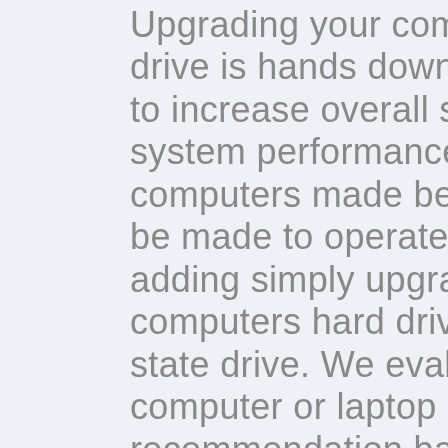Upgrading your computer's hard drive is hands down the best way to increase overall speed and system performance. Most computers made before 2016 can be made to operate much faster by adding simply upgrading your computers hard drive to a soild state drive. We evaluate your computer or laptop and make a recommendation based on your storage and preformance needs. Often we can clone your older hard drive to a new SSD which means all your data and programs will remain untouched. Every aspect of your computer will get faster